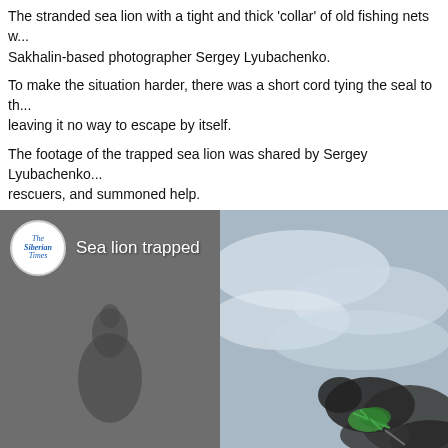The stranded sea lion with a tight and thick 'collar' of old fishing nets w... Sakhalin-based photographer Sergey Lyubachenko.
To make the situation harder, there was a short cord tying the seal to th... leaving it no way to escape by itself.
The footage of the trapped sea lion was shared by Sergey Lyubachenko... rescuers, and summoned help.
'It was very hard to see this strong animal tied to a concrete slab by a p... social media.
[Figure (photo): Video thumbnail showing a sea lion trapped with green fishing net around its body, near rocks and water. Left half shows a dark silhouette figure on grey background, right half shows the sea lion near foamy water with green netting visible. Overlay shows The Siberian Times logo and text 'Sea lion trapped'.]